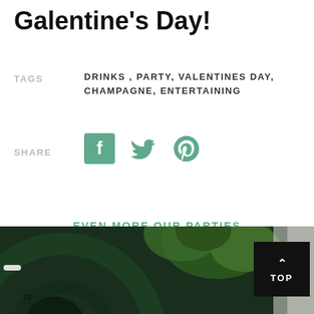Galentine's Day!
TAGS
DRINKS , PARTY, VALENTINES DAY, CHAMPAGNE, ENTERTAINING
SHARE
[Figure (infographic): Social share icons: Facebook, Twitter, Pinterest in teal/green color]
EVEN MORE OUR PARTIES ARTICLES FOR YOU
[Figure (photo): Dark green cookware/cast iron pot with green leaves and white elements visible, with a black TOP button in the bottom right corner]